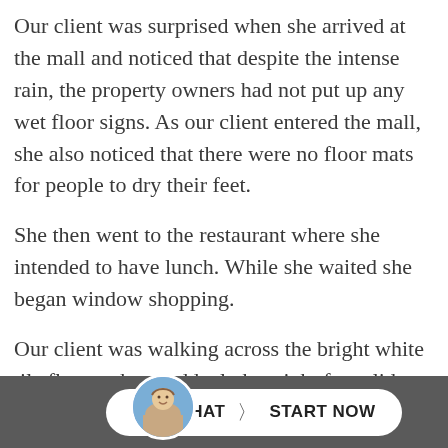Our client was surprised when she arrived at the mall and noticed that despite the intense rain, the property owners had not put up any wet floor signs. As our client entered the mall, she also noticed that there were no floor mats for people to dry their feet.
She then went to the restaurant where she intended to have lunch. While she waited she began window shopping.
Our client was walking across the bright white tile floors when suddenly her right foot slid forward. Her left ankle collapsed underneath her.  She lied on the floor in a state of shock at what had just happened.  Then she realized that her right hand
[Figure (photo): Circular avatar photo of a young man with short hair, used as a chat button avatar]
LIVE CHAT  >  START NOW